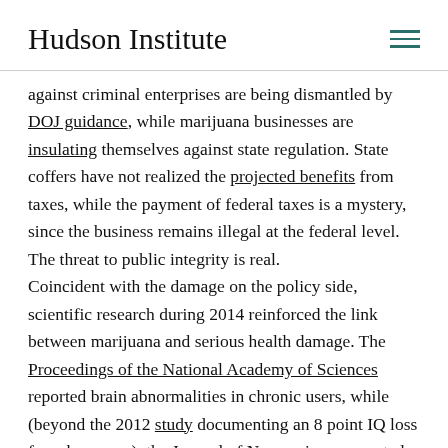Hudson Institute
against criminal enterprises are being dismantled by DOJ guidance, while marijuana businesses are insulating themselves against state regulation. State coffers have not realized the projected benefits from taxes, while the payment of federal taxes is a mystery, since the business remains illegal at the federal level. The threat to public integrity is real. Coincident with the damage on the policy side, scientific research during 2014 reinforced the link between marijuana and serious health damage. The Proceedings of the National Academy of Sciences reported brain abnormalities in chronic users, while (beyond the 2012 study documenting an 8 point IQ loss from heavyuse), the Journal of Neuroscience reported